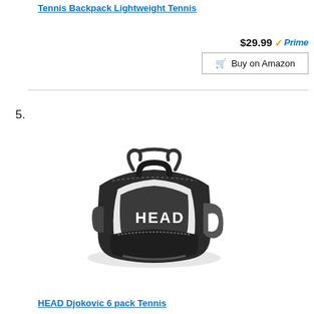Tennis Backpack Lightweight Tennis
$29.99 ✓Prime
🛒 Buy on Amazon
5.
[Figure (photo): HEAD Djokovic tennis bag - black and white duffel style bag with HEAD branding and logo]
HEAD Djokovic 6 pack Tennis